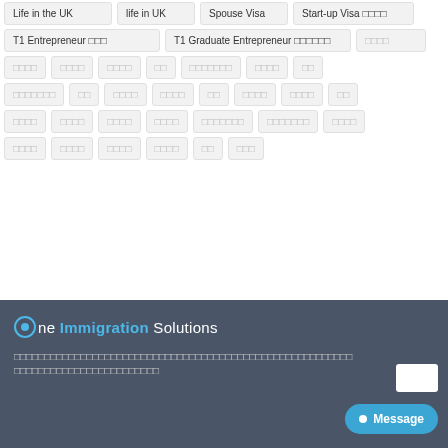Life in the UK
life in UK
Spouse Visa
Start-up Visa 🔲🔲🔲🔲
T1 Entrepreneur 🔲🔲🔲
T1 Graduate Entrepreneur 🔲🔲🔲🔲🔲🔲
🔲🔲🔲🔲
[garbled tags row 3-5]
[Figure (logo): One Immigration Solutions logo with circular icon and text]
[garbled footer text in non-Latin script]
Message